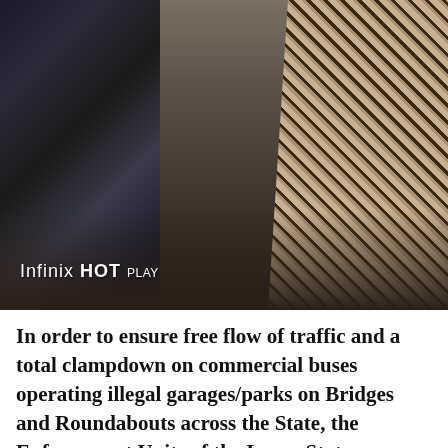[Figure (photo): Street scene showing three people in an urban setting. Left person wears a camouflage-patterned shirt. Center person wears a dark patterned top and grey shorts. Right person wears a full-length patterned outfit with a shoulder bag. A vehicle is visible in the background. The Infinix HOT PLAY watermark is visible in the lower left of the image.]
In order to ensure free flow of traffic and a total clampdown on commercial buses operating illegal garages/parks on Bridges and Roundabouts across the State, the Enforcement Units of the Lagos State...